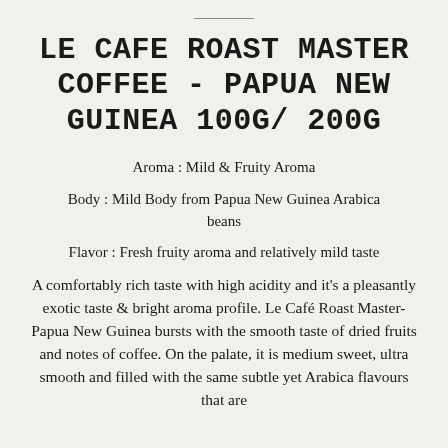LE CAFE ROAST MASTER COFFEE - PAPUA NEW GUINEA 100G/ 200G
Aroma : Mild & Fruity Aroma
Body : Mild Body from Papua New Guinea Arabica beans
Flavor : Fresh fruity aroma and relatively mild taste
A comfortably rich taste with high acidity and it's a pleasantly exotic taste & bright aroma profile. Le Café Roast Master- Papua New Guinea bursts with the smooth taste of dried fruits and notes of coffee. On the palate, it is medium sweet, ultra smooth and filled with the same subtle yet Arabica flavours that are